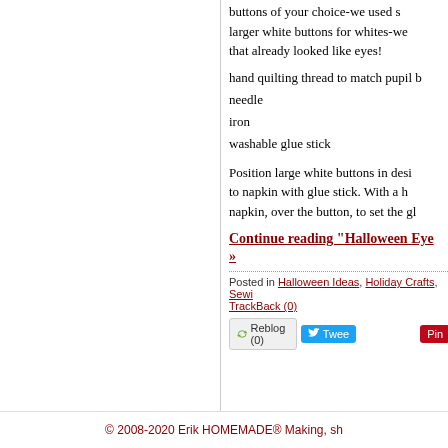buttons of your choice-we used s larger white buttons for whites-we that already looked like eyes!
hand quilting thread to match pupil b
needle
iron
washable glue stick
Position large white buttons in desi to napkin with glue stick. With a h napkin, over the button, to set the gl
Continue reading "Halloween Eye »
Posted in Halloween Ideas, Holiday Crafts, Sewi TrackBack (0)
© 2008-2020 Erik HOMEMADE® Making, sh